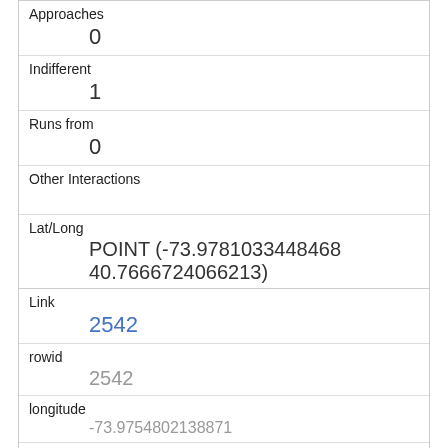| Approaches | 0 |
| Indifferent | 1 |
| Runs from | 0 |
| Other Interactions |  |
| Lat/Long | POINT (-73.9781033448468 40.7666724066213) |
| Link | 2542 |
| rowid | 2542 |
| longitude | -73.9754802138871 |
| latitude | 40.7733300804411996 |
| Unique Squirrel ID |  |